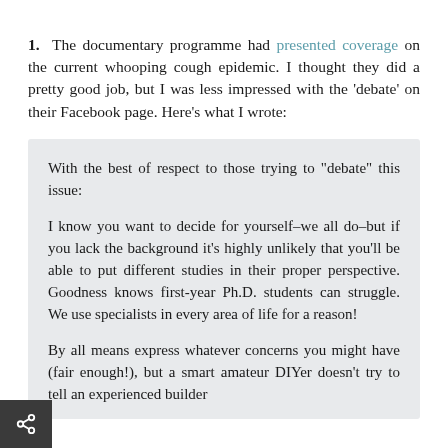1.  The documentary programme had presented coverage on the current whooping cough epidemic. I thought they did a pretty good job, but I was less impressed with the 'debate' on their Facebook page. Here's what I wrote:
With the best of respect to those trying to "debate" this issue:

I know you want to decide for yourself–we all do–but if you lack the background it's highly unlikely that you'll be able to put different studies in their proper perspective. Goodness knows first-year Ph.D. students can struggle. We use specialists in every area of life for a reason!

By all means express whatever concerns you might have (fair enough!), but a smart amateur DIYer doesn't try to tell an experienced builder